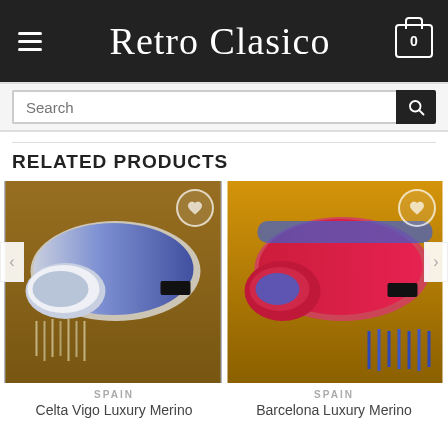Retro Clasico
[Figure (screenshot): E-commerce website screenshot showing Retro Clasico header with hamburger menu, brand name in script font, and cart icon with 0 items]
RELATED PRODUCTS
[Figure (photo): Celta Vigo Luxury Merino wool scarf rolled up showing blue and cream colors with fringe ends on wooden surface]
SPAIN
Celta Vigo Luxury Merino
[Figure (photo): Barcelona Luxury Merino wool scarf rolled up showing red and blue colors with fringe ends on wooden surface]
SPAIN
Barcelona Luxury Merino